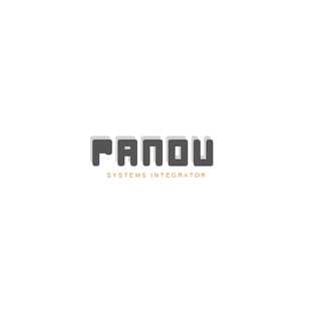[Figure (logo): Panou Systems Integrator logo. The word 'panou' rendered in a custom rounded rectangular font with dark gray color (partially overlapping lighter gray shadow/duplicate), and the tagline 'SYSTEMS INTEGRATOR' in orange/amber spaced capital letters below.]